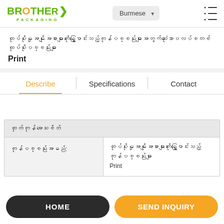BROTHER PACKAGING | Burmese | Menu
ထုပ်ပိုးမှုအမျိုးအစားများကိုရွှေ့ပြောင်းသည့်ကုန်ပစ္စည်းများအတွက်သုံးသောပလပ်စတစ်ထုပ်ပိုးပစ္စည်းများ Print
Describe | Specifications | Contact
| ထုတ်ကုန်အသေးစိတ် |  |
| --- | --- |
| ကုန်ပစ္စည်းအမည်: | ထုပ်ပိုးမှုအမျိုးအစားများကိုရွှေ့ပြောင်းသည့်ကုန်ပစ္စည်းများ Print |
HOME | SEND INQUIRY